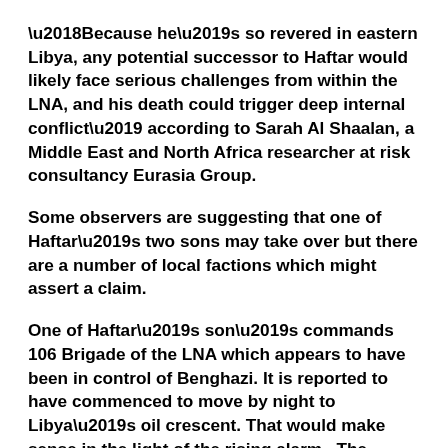'Because he's so revered in eastern Libya, any potential successor to Haftar would likely face serious challenges from within the LNA, and his death could trigger deep internal conflict' according to Sarah Al Shaalan, a Middle East and North Africa researcher at risk consultancy Eurasia Group.
Some observers are suggesting that one of Haftar's two sons may take over but there are a number of local factions which might assert a claim.
One of Haftar's son's commands 106 Brigade of the LNA which appears to have been in control of Benghazi. It is reported to have commenced to move by night to Libya's oil crescent. That would make sense in the light of the rising alarm.  The possibility that Massurian forces may take the opportunity to